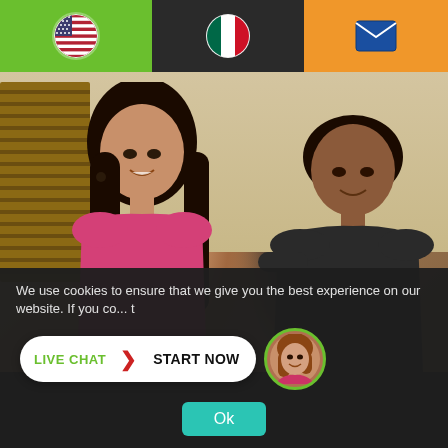[Figure (screenshot): Website header with three sections: green section with US flag, dark section with Mexican flag, orange section with email envelope icon]
[Figure (photo): Couple photo: a woman in a pink top with dark hair smiling, and a man in a dark shirt, posed together indoors with wooden blinds visible in background]
We use cookies to ensure that we give you the best experience on our website. If you co... t
[Figure (screenshot): Live Chat button with green text 'LIVE CHAT', red arrow chevron, and bold text 'START NOW' on white pill-shaped background, with circular avatar of a woman]
[Figure (screenshot): Ok button in teal/cyan color]